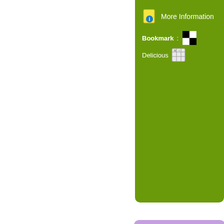[Figure (screenshot): Green card panel (right side, top) with More Information icon and text, Bookmark label with Delicious icon and grid icon]
More Information
Bookmark : Delicious
[Figure (screenshot): Purple card panel (right side, bottom) with title 'Teesside: Annual Me...', expired date '(Expired : 12th January, 2015)', body text 'Bootylicious Bootcamps: Annual ... More)', green thumbnail image, More Information link, and Bookmark / Delicious row]
Teesside: Annual Me
(Expired : 12th January, 2015)
Bootylicious Bootcamps: Annual ... More)
More Information
Bookmark : Delicious